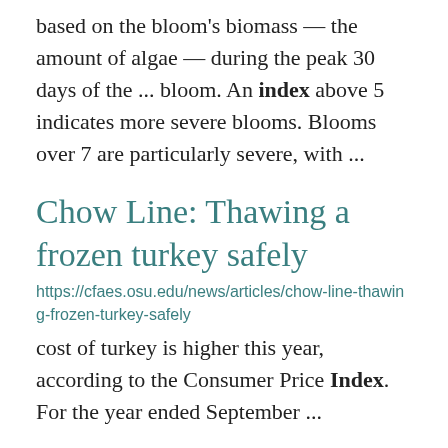based on the bloom's biomass — the amount of algae — during the peak 30 days of the ... bloom. An index above 5 indicates more severe blooms. Blooms over 7 are particularly severe, with ...
Chow Line: Thawing a frozen turkey safely
https://cfaes.osu.edu/news/articles/chow-line-thawing-frozen-turkey-safely
cost of turkey is higher this year, according to the Consumer Price Index. For the year ended September ...
Staying Safe in the Sun